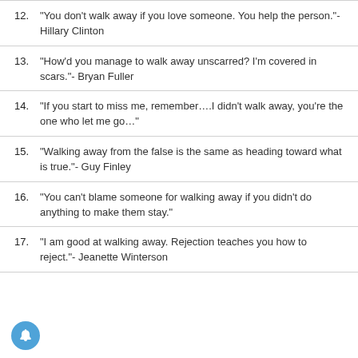12. “You don’t walk away if you love someone. You help the person.”- Hillary Clinton
13. “How’d you manage to walk away unscarred? I’m covered in scars.”- Bryan Fuller
14. “If you start to miss me, remember….I didn’t walk away, you’re the one who let me go…”
15. “Walking away from the false is the same as heading toward what is true.”- Guy Finley
16. “You can’t blame someone for walking away if you didn’t do anything to make them stay.”
17. “I am good at walking away. Rejection teaches you how to reject.”- Jeanette Winterson